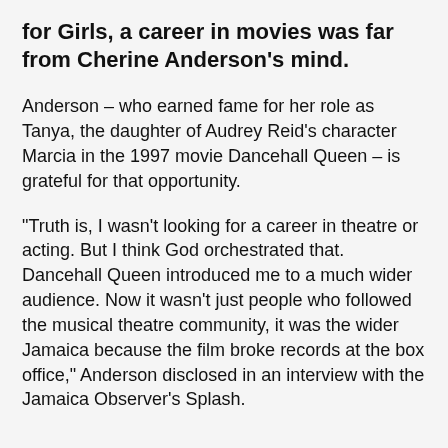for Girls, a career in movies was far from Cherine Anderson's mind.
Anderson – who earned fame for her role as Tanya, the daughter of Audrey Reid's character Marcia in the 1997 movie Dancehall Queen – is grateful for that opportunity.
“Truth is, I wasn't looking for a career in theatre or acting. But I think God orchestrated that. Dancehall Queen introduced me to a much wider audience. Now it wasn't just people who followed the musical theatre community, it was the wider Jamaica because the film broke records at the box office,” Anderson disclosed in an interview with the Jamaica Observer's Splash.